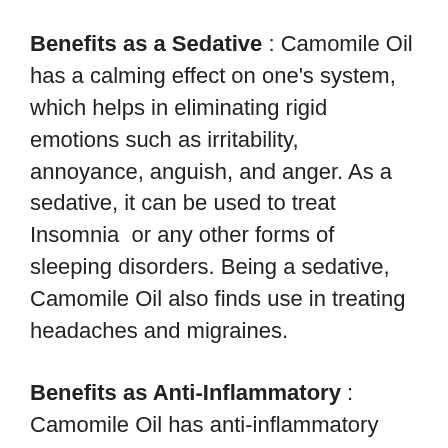Benefits as a Sedative : Camomile Oil has a calming effect on one's system, which helps in eliminating rigid emotions such as irritability, annoyance, anguish, and anger. As a sedative, it can be used to treat Insomnia or any other forms of sleeping disorders. Being a sedative, Camomile Oil also finds use in treating headaches and migraines.
Benefits as Anti-Inflammatory : Camomile Oil has anti-inflammatory properties, and can be used as antispasmodic remedy to combat pain. Also, Camomile Oil can reduce blood pressure and correct swellings of the blood vessels. As an anti-inflammatory, Camomile Oil also can treat to inflammation the...